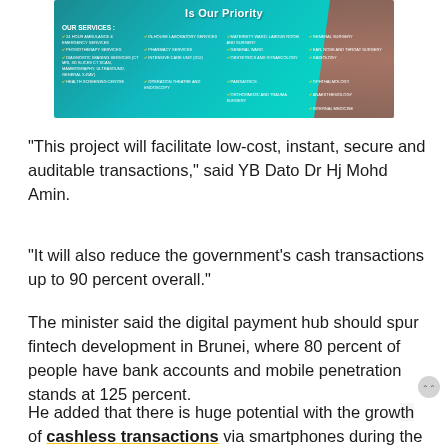[Figure (illustration): Hospital services promotional banner with teal/green gradient background showing 'Is Our Priority' text and a grid of medical services with checkmarks including 24-hour ambulance, laboratory services, pharmacy, maternity ward, general surgery, ear nose and throat surgery, radiology, ophthalmology, anaesthesiology, internal medicine, and others.]
“This project will facilitate low-cost, instant, secure and auditable transactions,” said YB Dato Dr Hj Mohd Amin.
“It will also reduce the government’s cash transactions up to 90 percent overall.”
The minister said the digital payment hub should spur fintech development in Brunei, where 80 percent of people have bank accounts and mobile penetration stands at 125 percent.
He added that there is huge potential with the growth of cashless transactions via smartphones during the